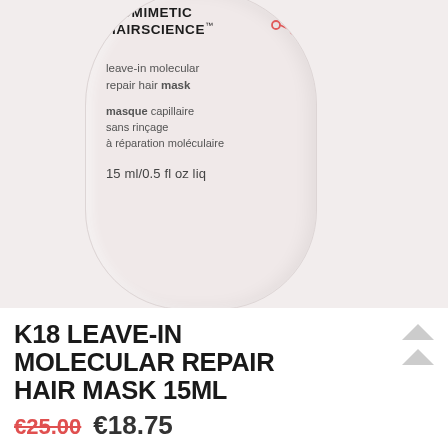[Figure (photo): White cylindrical bottle of K18 Biomimetic Hairscience leave-in molecular repair hair mask, 15ml/0.5 fl oz liq, showing brand name, product description in English and French, and volume on the bottle label. Background is light pink/grey.]
K18 LEAVE-IN MOLECULAR REPAIR HAIR MASK 15ML
€25.00  €18.75